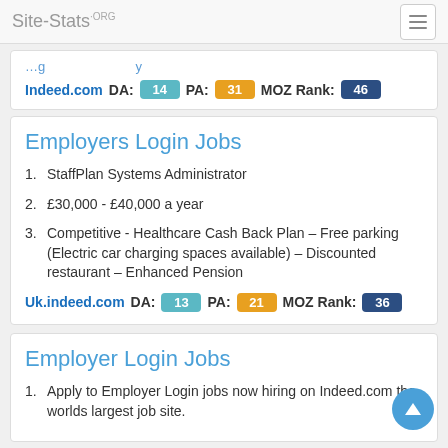Site-Stats.ORG
Indeed.com  DA: 14  PA: 31  MOZ Rank: 46
Employers Login Jobs
1. StaffPlan Systems Administrator
2. £30,000 - £40,000 a year
3. Competitive - Healthcare Cash Back Plan – Free parking (Electric car charging spaces available) – Discounted restaurant – Enhanced Pension
Uk.indeed.com  DA: 13  PA: 21  MOZ Rank: 36
Employer Login Jobs
1. Apply to Employer Login jobs now hiring on Indeed.com the worlds largest job site.